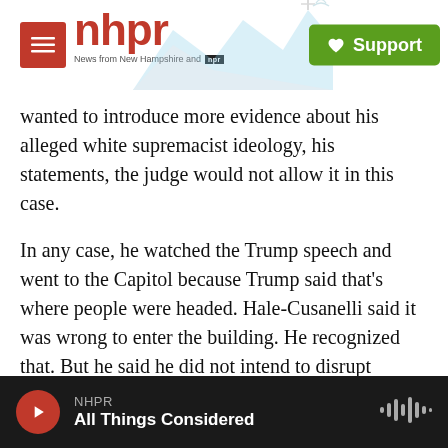NHPR — News from New Hampshire and NPR — Support
wanted to introduce more evidence about his alleged white supremacist ideology, his statements, the judge would not allow it in this case.
In any case, he watched the Trump speech and went to the Capitol because Trump said that's where people were headed. Hale-Cusanelli said it was wrong to enter the building. He recognized that. But he said he did not intend to disrupt Congress because he claimed he did not know that Congress met at the Capitol building.
CHANG: How did that argument go over?
NHPR All Things Considered